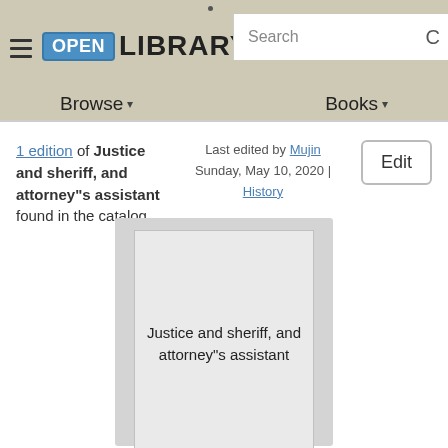Open Library — Browse, Books, Search
1 edition of Justice and sheriff, and attorney"s assistant found in the catalog.
Last edited by Mujin
Sunday, May 10, 2020 | History
[Figure (illustration): Book cover placeholder showing title: Justice and sheriff, and attorney"s assistant]